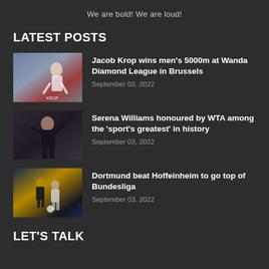We are bold! We are loud!
LATEST POSTS
[Figure (photo): Jacob Krop running athlete photo]
Jacob Krop wins men's 5000m at Wanda Diamond League in Brussels
September 03, 2022
[Figure (photo): Serena Williams photo]
Serena Williams honoured by WTA among the 'sport's greatest' in history
September 03, 2022
[Figure (photo): Dortmund vs Hoffenheim soccer match photo]
Dortmund beat Hoffeinheim to go top of Bundesliga
September 03, 2022
LET'S TALK